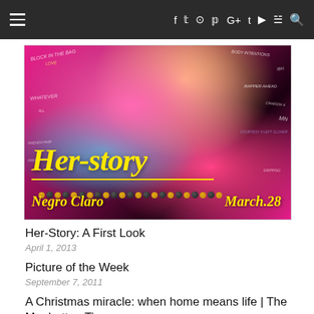≡  f  t  ⓘ  ℗  G+  t  ▶  )))  🔍
[Figure (illustration): Colorful pop-art style illustration of a woman with face paint and large afro hair covered in graffiti text. Large yellow italic text reads 'Her-story' with an underline. Bottom left reads 'Negro Claro' and bottom right reads 'March.28' in yellow cursive. Pink/magenta background with graffiti writing throughout.]
Her-Story: A First Look
April 1, 2013
Picture of the Week
September 7, 2011
A Christmas miracle: when home means life | The Manhattan Times